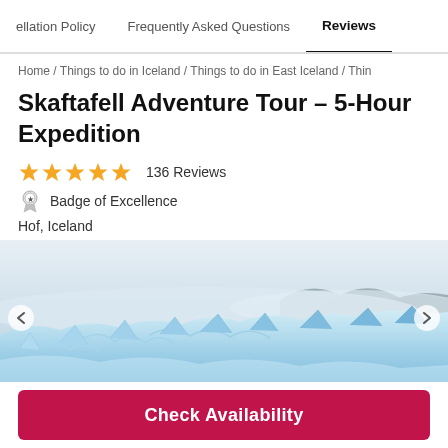cellation Policy  /  Frequently Asked Questions  /  Reviews
Home / Things to do in Iceland / Things to do in East Iceland / Thin
Skaftafell Adventure Tour - 5-Hour Expedition
★★★★★  136 Reviews
Badge of Excellence
Hof, Iceland
[Figure (photo): Glacier landscape with blue ice formations and misty mountains in the background — Skaftafell, Iceland]
Check Availability